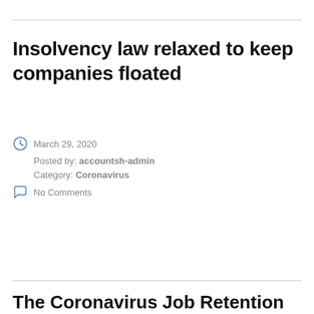Insolvency law relaxed to keep companies floated
March 29, 2020
Posted by: accountsh-admin
Category: Coronavirus
No Comments
read more
The Coronavirus Job Retention